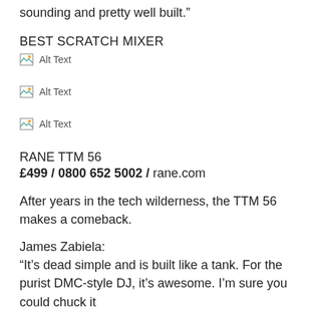sounding and pretty well built.”
BEST SCRATCH MIXER
[Figure (other): Broken image placeholder labeled Alt Text]
[Figure (other): Broken image placeholder labeled Alt Text]
[Figure (other): Broken image placeholder labeled Alt Text]
RANE TTM 56
£499 / 0800 652 5002 / rane.com
After years in the tech wilderness, the TTM 56 makes a comeback.
James Zabiela:
“It’s dead simple and is built like a tank. For the purist DMC-style DJ, it’s awesome. I’m sure you could chuck it